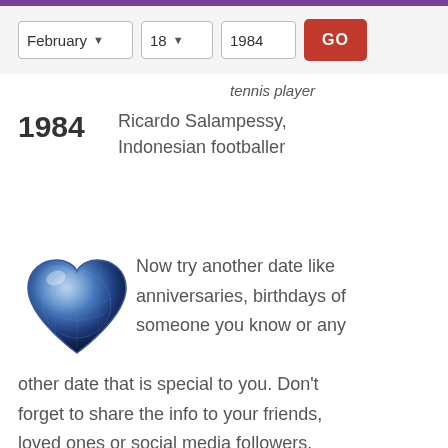February 18 1984 GO
tennis player
1984  Ricardo Salampessy, Indonesian footballer
Now try another date like anniversaries, birthdays of someone you know or any other date that is special to you. Don't forget to share the info to your friends, loved ones or social media followers. Who knows, they might appreciate and thank you for it.